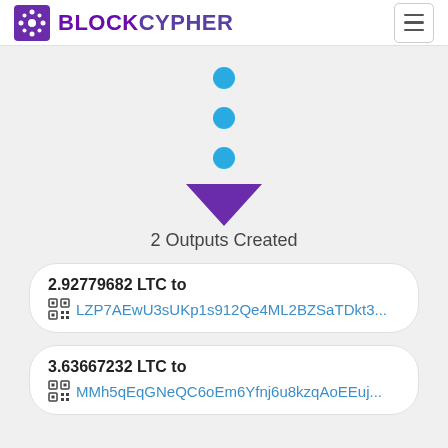BLOCKCYPHER
[Figure (infographic): Three blue circles arranged vertically with a purple downward-pointing triangle arrow below them, representing a transaction flow with outputs]
2 Outputs Created
2.92779682 LTC to LZP7AEwU3sUKp1s912Qe4ML2BZSaTDkt3...
3.63667232 LTC to MMh5qEqGNeQC6oEm6Yfnj6u8kzqAoEEuj...